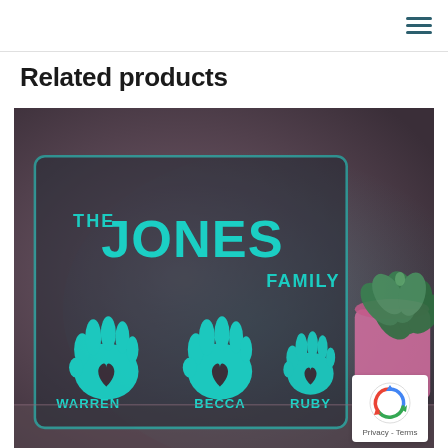≡
Related products
[Figure (photo): A glowing LED acrylic sign with cyan light showing 'THE JONES FAMILY' with three handprints labeled WARREN, BECCA, and RUBY. A succulent plant in a pink pot is visible to the right.]